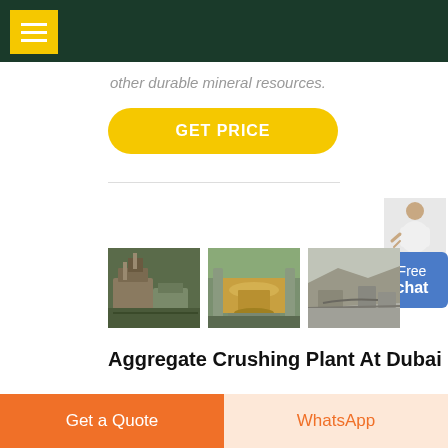other durable mineral resources.
GET PRICE
[Figure (photo): Three photos of aggregate crushing plant operations at a quarry site]
Aggregate Crushing Plant At Dubai -
Get a Quote
WhatsApp